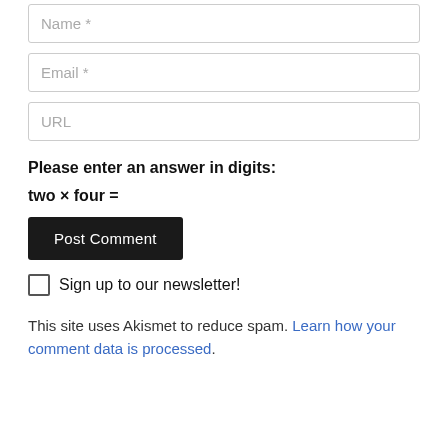Name *
Email *
URL
Please enter an answer in digits:
two × four =
Post Comment
Sign up to our newsletter!
This site uses Akismet to reduce spam. Learn how your comment data is processed.